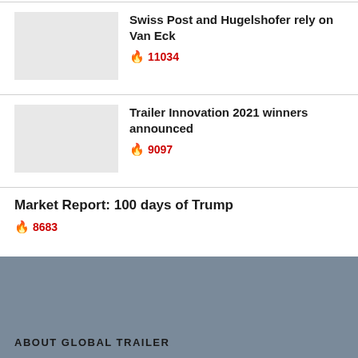Swiss Post and Hugelshofer rely on Van Eck
🔥 11034
Trailer Innovation 2021 winners announced
🔥 9097
Market Report: 100 days of Trump
🔥 8683
ABOUT GLOBAL TRAILER